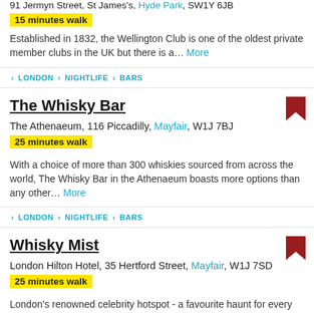91 Jermyn Street, St James's, Hyde Park, SW1Y 6JB
15 minutes walk
Established in 1832, the Wellington Club is one of the oldest private member clubs in the UK but there is a...  More
› LONDON › NIGHTLIFE › BARS
The Whisky Bar
The Athenaeum, 116 Piccadilly, Mayfair, W1J 7BJ
25 minutes walk
With a choice of more than 300 whiskies sourced from across the world, The Whisky Bar in the Athenaeum boasts more options than any other...  More
› LONDON › NIGHTLIFE › BARS
Whisky Mist
London Hilton Hotel, 35 Hertford Street, Mayfair, W1J 7SD
25 minutes walk
London's renowned celebrity hotspot - a favourite haunt for every...